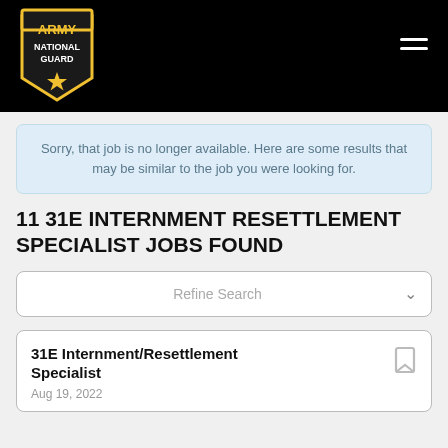[Figure (logo): Army National Guard shield logo with yellow star on black background]
Sorry, that job is no longer available. Here are some results that may be similar to the job you were looking for.
11 31E INTERNMENT RESETTLEMENT SPECIALIST JOBS FOUND
Refine Search
31E Internment/Resettlement Specialist
Aug 19, 2022